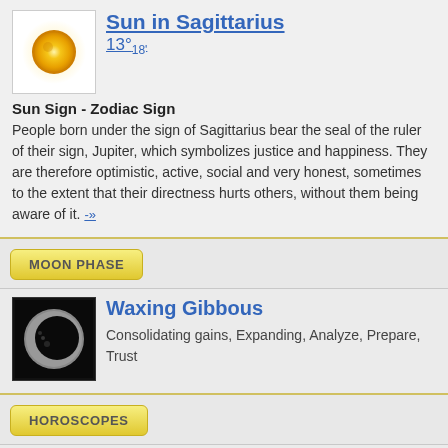[Figure (illustration): Golden sun symbol icon with radiant glow on white background]
Sun in Sagittarius
13°18'
Sun Sign - Zodiac Sign
People born under the sign of Sagittarius bear the seal of the ruler of their sign, Jupiter, which symbolizes justice and happiness. They are therefore optimistic, active, social and very honest, sometimes to the extent that their directness hurts others, without them being aware of it. -»
MOON PHASE
[Figure (photo): Waxing gibbous moon photo on black background]
Waxing Gibbous
Consolidating gains, Expanding, Analyze, Prepare, Trust
HOROSCOPES
[Figure (illustration): Chinese dragon character calligraphy (龙) in blue on light background]
Dragon (Fire)
Chinese horoscope